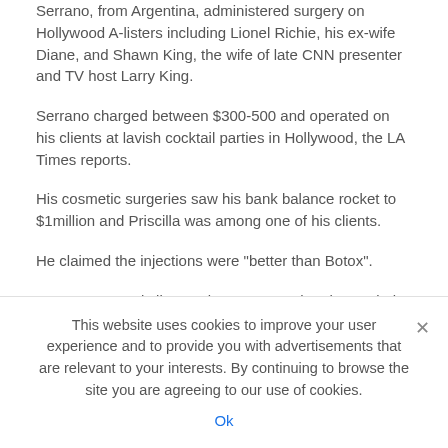Serrano, from Argentina, administered surgery on Hollywood A-listers including Lionel Richie, his ex-wife Diane, and Shawn King, the wife of late CNN presenter and TV host Larry King.
Serrano charged between $300-500 and operated on his clients at lavish cocktail parties in Hollywood, the LA Times reports.
His cosmetic surgeries saw his bank balance rocket to $1million and Priscilla was among one of his clients.
He claimed the injections were "better than Botox".
Serrano was only licensed as a nurse when he carried out the procedure and used industrial-grade silicone.
This website uses cookies to improve your user experience and to provide you with advertisements that are relevant to your interests. By continuing to browse the site you are agreeing to our use of cookies.
Ok